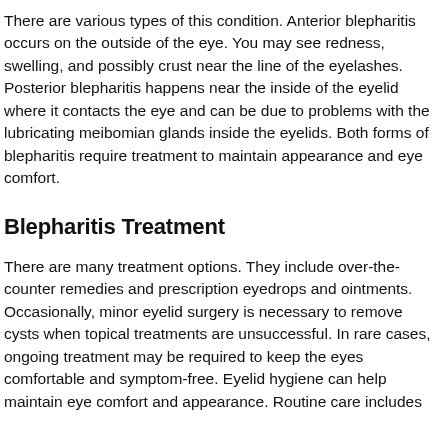There are various types of this condition. Anterior blepharitis occurs on the outside of the eye. You may see redness, swelling, and possibly crust near the line of the eyelashes. Posterior blepharitis happens near the inside of the eyelid where it contacts the eye and can be due to problems with the lubricating meibomian glands inside the eyelids. Both forms of blepharitis require treatment to maintain appearance and eye comfort.
Blepharitis Treatment
There are many treatment options. They include over-the-counter remedies and prescription eyedrops and ointments. Occasionally, minor eyelid surgery is necessary to remove cysts when topical treatments are unsuccessful. In rare cases, ongoing treatment may be required to keep the eyes comfortable and symptom-free. Eyelid hygiene can help maintain eye comfort and appearance. Routine care includes